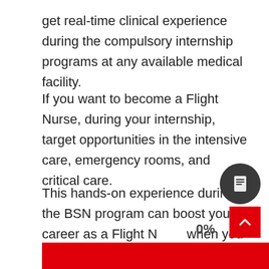get real-time clinical experience during the compulsory internship programs at any available medical facility.
If you want to become a Flight Nurse, during your internship, target opportunities in the intensive care, emergency rooms, and critical care.
This hands-on experience during the BSN program can boost your career as a Flight Nurse when you start working after graduation.